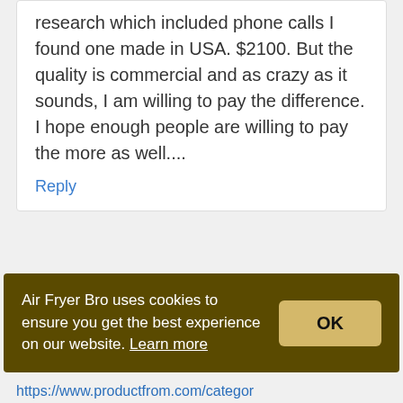research which included phone calls I found one made in USA. $2100. But the quality is commercial and as crazy as it sounds, I am willing to pay the difference. I hope enough people are willing to pay the more as well....
Reply
[Figure (illustration): Avatar icon of a cartoon purple figure with round teal background, representing user Brenda]
Brenda
Air Fryer Bro uses cookies to ensure you get the best experience on our website. Learn more
https://www.productfrom.com/categor